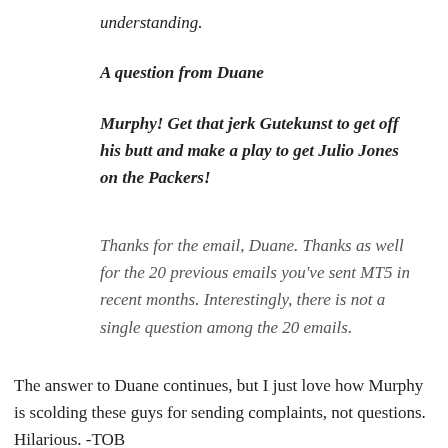understanding.
A question from Duane
Murphy! Get that jerk Gutekunst to get off his butt and make a play to get Julio Jones on the Packers!
Thanks for the email, Duane. Thanks as well for the 20 previous emails you've sent MT5 in recent months. Interestingly, there is not a single question among the 20 emails.
The answer to Duane continues, but I just love how Murphy is scolding these guys for sending complaints, not questions. Hilarious. -TOB